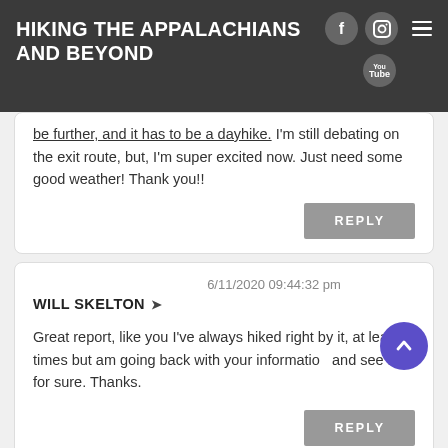HIKING THE APPALACHIANS AND BEYOND
...be further, and it has to be a dayhike, I'm still debating on the exit route, but, I'm super excited now. Just need some good weather! Thank you!!
REPLY
WILL SKELTON → 6/11/2020 09:44:32 pm
Great report, like you I've always hiked right by it, at least 4 times but am going back with your information and see it for sure. Thanks.
REPLY